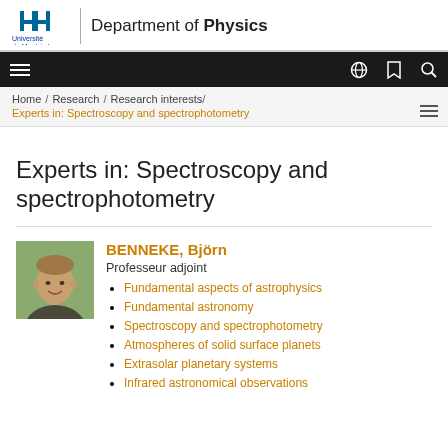[Figure (logo): Université de Montréal logo with stylized H icon and Department of Physics text]
[Figure (screenshot): Black navigation bar with hamburger menu icon on left and globe, bookmark, search icons on right]
Home / Research / Research interests / Experts in: Spectroscopy and spectrophotometry
Experts in: Spectroscopy and spectrophotometry
[Figure (photo): Photo of Björn Benneke, a man smiling]
BENNEKE, Björn
Professeur adjoint
Fundamental aspects of astrophysics
Fundamental astronomy
Spectroscopy and spectrophotometry
Atmospheres of solid surface planets
Extrasolar planetary systems
Infrared astronomical observations